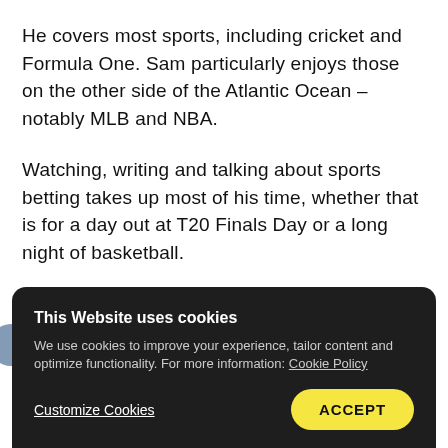He covers most sports, including cricket and Formula One. Sam particularly enjoys those on the other side of the Atlantic Ocean – notably MLB and NBA.
Watching, writing and talking about sports betting takes up most of his time, whether that is for a day out at T20 Finals Day or a long night of basketball.
Having been writing for several years, Sam has been working with 888Sport since 2016, contributing m
This Website uses cookies
We use cookies to improve your experience, tailor content and optimize functionality. For more information: Cookie Policy
Customize Cookies
ACCEPT